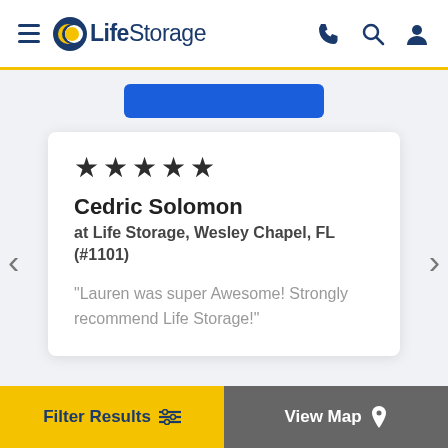LifeStorage
[Figure (screenshot): Blue button strip partially visible at top of content area]
★★★★★
Cedric Solomon
at Life Storage, Wesley Chapel, FL (#1101)
"Lauren was super Awesome! Strongly recommend Life Storage!"
Filter Results | View Map